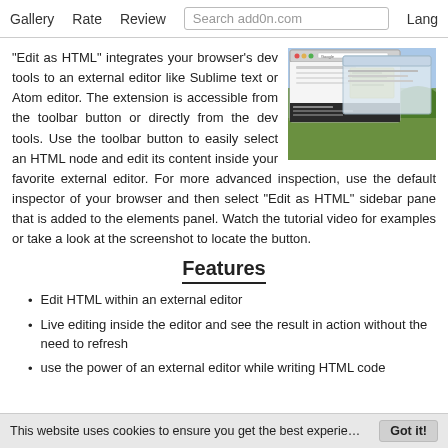Gallery   Rate   Review   Search add0n.com   Lang
"Edit as HTML" integrates your browser's dev tools to an external editor like Sublime text or Atom editor. The extension is accessible from the toolbar button or directly from the dev tools. Use the toolbar button to easily select an HTML node and edit its content inside your favorite external editor. For more advanced inspection, use the default inspector of your browser and then select "Edit as HTML" sidebar pane that is added to the elements panel. Watch the tutorial video for examples or take a look at the screenshot to locate the button.
[Figure (screenshot): Screenshot of the Edit as HTML extension showing a browser dev tools panel overlaid on a webpage with a green outdoor background.]
Features
Edit HTML within an external editor
Live editing inside the editor and see the result in action without the need to refresh
use the power of an external editor while writing HTML code
This website uses cookies to ensure you get the best experie…   Got it!